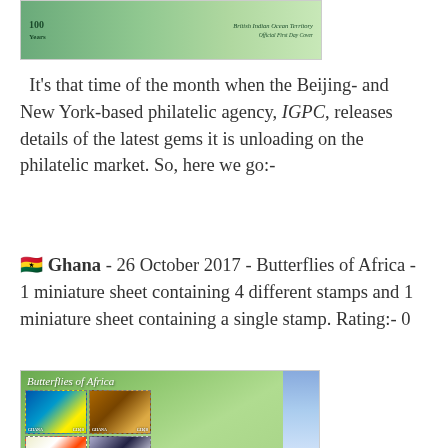[Figure (photo): Top stamp sheet image — British Indian Ocean Territory centenary issue, green background with stamps visible]
It's that time of the month when the Beijing- and New York-based philatelic agency, IGPC, releases details of the latest gems it is unloading on the philatelic market. So, here we go:-
🇬🇭 Ghana - 26 October 2017 - Butterflies of Africa - 1 miniature sheet containing 4 different stamps and 1 miniature sheet containing a single stamp. Rating:- 0
[Figure (photo): Ghana Butterflies of Africa miniature sheet showing 4 butterfly stamps on green background with italic script title]